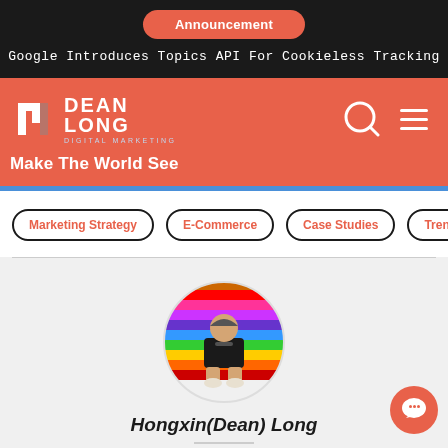Announcement
Google Introduces Topics API For Cookieless Tracking
[Figure (logo): Dean Long Digital Marketing logo — stylized 'n' icon with DEAN LONG DIGITAL MARKETING text in white on red background]
Make The World See
Marketing Strategy
E-Commerce
Case Studies
Trends
[Figure (photo): Circular profile photo of Hongxin(Dean) Long, a man in a black outfit sitting on a colorful rainbow-striped bench/bleachers]
Hongxin(Dean) Long
Dean Long is a Sydney-based